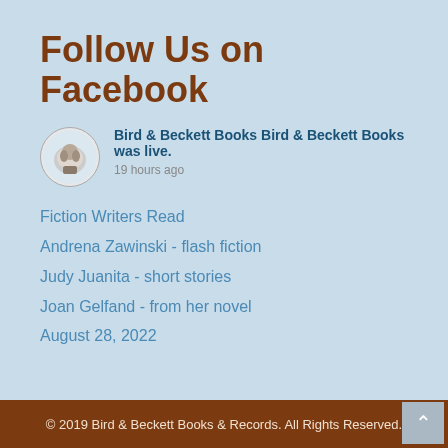Follow Us on Facebook
Bird & Beckett Books Bird & Beckett Books was live.
19 hours ago
Fiction Writers Read
Andrena Zawinski - flash fiction
Judy Juanita - short stories
Joan Gelfand - from her novel
August 28, 2022
© 2019 Bird & Beckett Books & Records. All Rights Reserved.